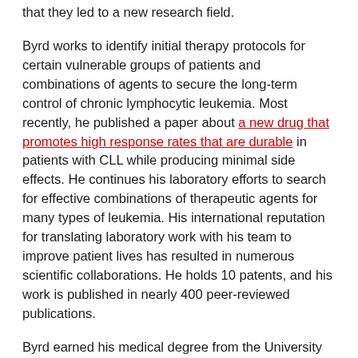that they led to a new research field.
Byrd works to identify initial therapy protocols for certain vulnerable groups of patients and combinations of agents to secure the long-term control of chronic lymphocytic leukemia. Most recently, he published a paper about a new drug that promotes high response rates that are durable in patients with CLL while producing minimal side effects. He continues his laboratory efforts to search for effective combinations of therapeutic agents for many types of leukemia. His international reputation for translating laboratory work with his team to improve patient lives has resulted in numerous scientific collaborations. He holds 10 patents, and his work is published in nearly 400 peer-reviewed publications.
Byrd earned his medical degree from the University of Arkansas and completed his internship and residency in internal medicine at Walter Reed Army Medical Center.
In his remarks to trustees, Byrd thanked his family, clinical and research team members and patients who have